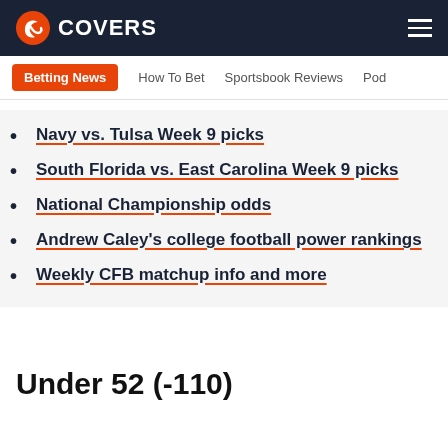COVERS
Navy vs. Tulsa Week 9 picks
South Florida vs. East Carolina Week 9 picks
National Championship odds
Andrew Caley's college football power rankings
Weekly CFB matchup info and more
Under 52 (-110)